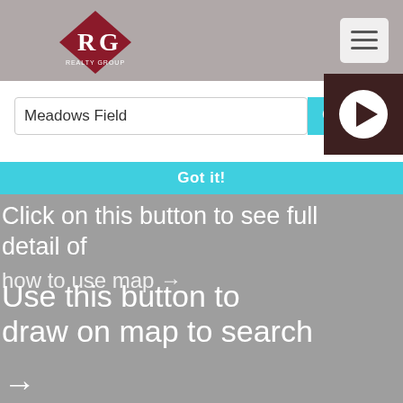[Figure (logo): RG Realty Group logo — diamond-shaped red emblem with white letters RG]
[Figure (other): Hamburger menu button (three horizontal lines) on light background]
Meadows Field
[Figure (other): Search icon (magnifying glass) on cyan/teal background]
[Figure (other): Play button (triangle) on dark brown circular background]
Got it!
Click on this button to see full detail of
how to use map →
Use this button to draw on map to search
→